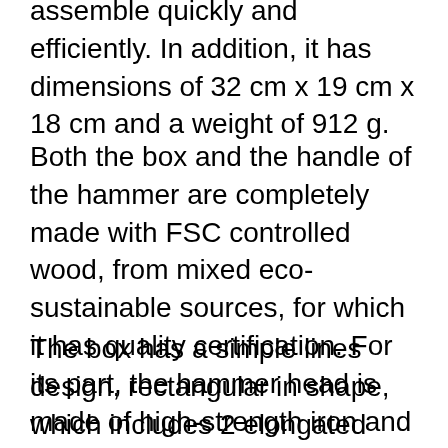assemble quickly and efficiently. In addition, it has dimensions of 32 cm x 19 cm x 18 cm and a weight of 912 g.
Both the box and the handle of the hammer are completely made with FSC controlled wood, from mixed eco-sustainable sources, for which it has quality certification. For its part, the hammer head is made of high-strength iron and includes a slot to extract nails.
The box has a simple lines design, rectangular in shape, which includes 2 elongated compartments and one of them has a lid for storing small parts. It also has a circular handle on the top that is comfortable for the hands and allows you to balance the